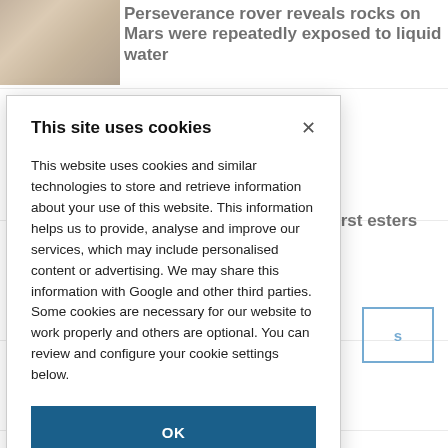[Figure (photo): Perseverance rover on Mars surface, sepia/brown tones]
Perseverance rover reveals rocks on Mars were repeatedly exposed to liquid water
catalyses first esters
s
This site uses cookies
This website uses cookies and similar technologies to store and retrieve information about your use of this website. This information helps us to provide, analyse and improve our services, which may include personalised content or advertising. We may share this information with Google and other third parties. Some cookies are necessary for our website to work properly and others are optional. You can review and configure your cookie settings below.
OK
COOKIE SETTINGS